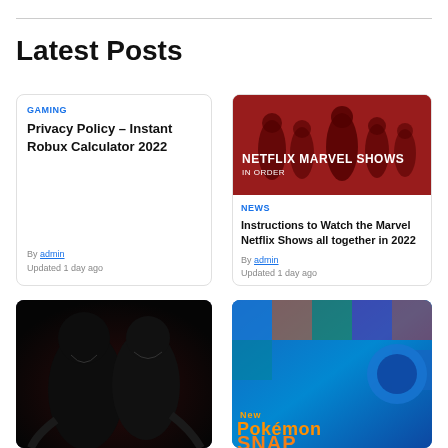Latest Posts
GAMING
Privacy Policy – Instant Robux Calculator 2022
By admin
Updated 1 day ago
[Figure (photo): Netflix Marvel Shows In Order promotional image with characters in red-tinted background, text overlay reads NETFLIX MARVEL SHOWS IN ORDER]
NEWS
Instructions to Watch the Marvel Netflix Shows all together in 2022
By admin
Updated 1 day ago
[Figure (photo): Venom movie promotional dark poster with two venom characters]
[Figure (photo): New Pokemon Snap game promotional colorful image with Pokemon characters]